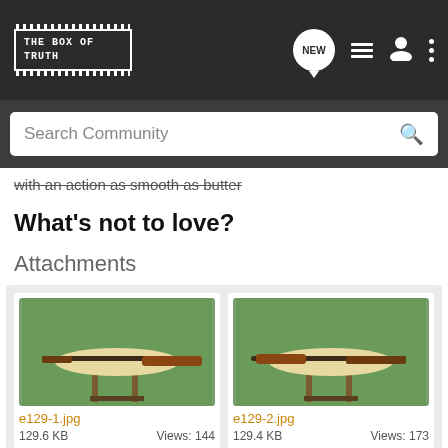THE BOX OF TRUTH — navigation bar with logo, NEW chat bubble, list icon, user icon, more icon
Search Community
with an action as smooth as butter
What's not to love?
Attachments
[Figure (photo): Photo of a rifle resting on a small wooden stand on grass — e129-1.jpg, 129.6 KB, Views: 144]
[Figure (photo): Photo of a rifle resting on a small wooden stand on grass — e129-2.jpg, 129.4 KB, Views: 173]
[Figure (photo): Partial photo (bottom row, left) — partially visible]
[Figure (photo): Partial photo (bottom row, right) — partially visible]